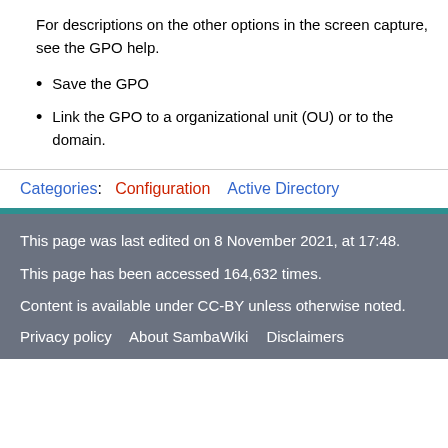For descriptions on the other options in the screen capture, see the GPO help.
Save the GPO
Link the GPO to a organizational unit (OU) or to the domain.
Categories: Configuration   Active Directory
This page was last edited on 8 November 2021, at 17:48.
This page has been accessed 164,632 times.
Content is available under CC-BY unless otherwise noted.
Privacy policy   About SambaWiki   Disclaimers